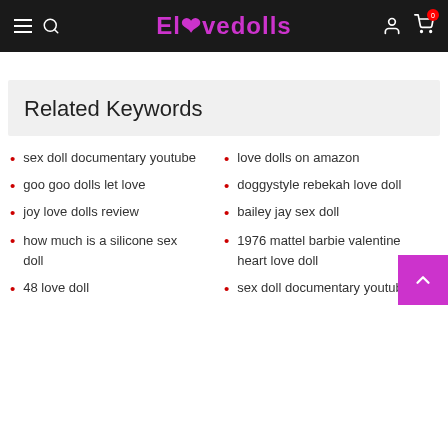Elovedolls
Related Keywords
sex doll documentary youtube
love dolls on amazon
goo goo dolls let love
doggystyle rebekah love doll
joy love dolls review
bailey jay sex doll
how much is a silicone sex doll
1976 mattel barbie valentine heart love doll
48 love doll
sex doll documentary youtube